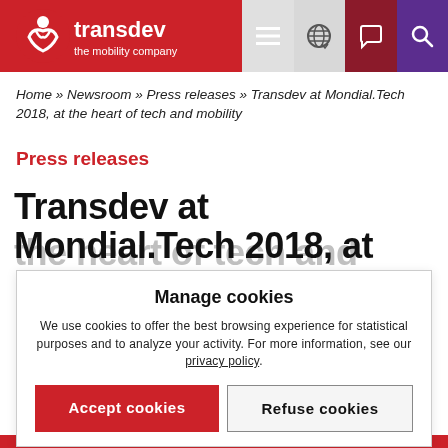[Figure (logo): Transdev 'the mobility company' logo — white on red background with navigation icons]
Home » Newsroom » Press releases » Transdev at Mondial.Tech 2018, at the heart of tech and mobility
Press releases
Transdev at Mondial.Tech 2018, at the heart of tech and mobility
Manage cookies
We use cookies to offer the best browsing experience for statistical purposes and to analyze your activity. For more information, see our privacy policy.
Accept cookies
Refuse cookies
Manage cookies